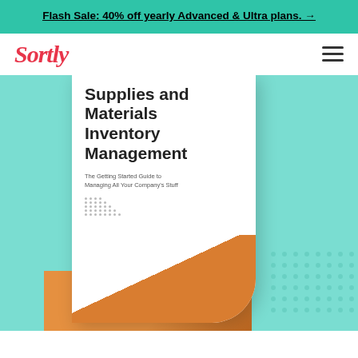Flash Sale: 40% off yearly Advanced & Ultra plans. →
[Figure (logo): Sortly logo in red/pink italic script font]
[Figure (illustration): Book mockup cover showing 'Supplies and Materials Inventory Management – The Getting Started Guide to Managing All Your Company's Stuff' on a teal/mint green background with orange accent and dot pattern decoration]